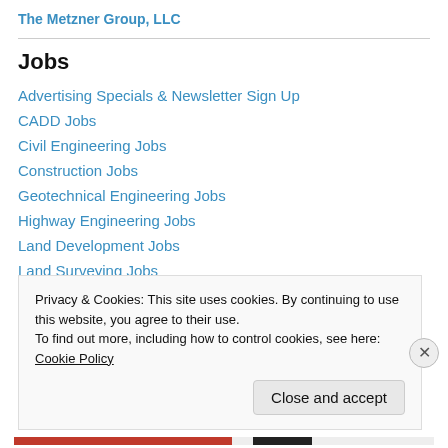The Metzner Group, LLC
Jobs
Advertising Specials & Newsletter Sign Up
CADD Jobs
Civil Engineering Jobs
Construction Jobs
Geotechnical Engineering Jobs
Highway Engineering Jobs
Land Development Jobs
Land Surveying Jobs
Structural Engineering Jobs
Privacy & Cookies: This site uses cookies. By continuing to use this website, you agree to their use.
To find out more, including how to control cookies, see here: Cookie Policy
Close and accept